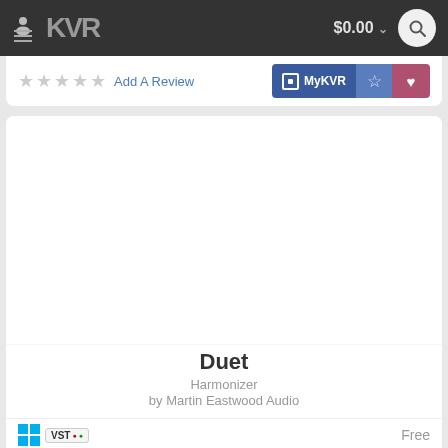KVR Audio — $0.00
Add A Review
MyKVR
Duet
Harmonizer
by Martin Eastwood Audio
Free
Add A Review
MyKVR